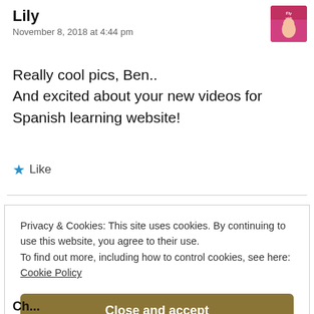Lily
November 8, 2018 at 4:44 pm
[Figure (photo): Avatar/profile photo of Lily with pink background, text 'Fly with Lily']
Really cool pics, Ben..
And excited about your new videos for Spanish learning website!
★ Like
Privacy & Cookies: This site uses cookies. By continuing to use this website, you agree to their use.
To find out more, including how to control cookies, see here:
Cookie Policy
Close and accept
Ch...